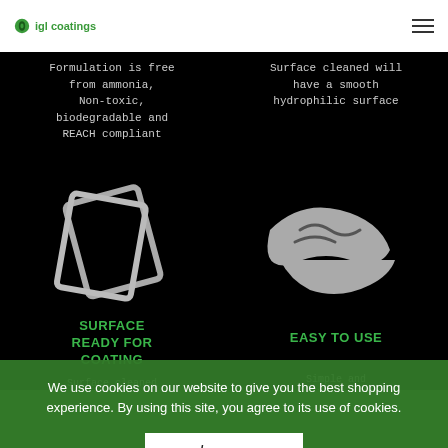igl coatings
Formulation is free from ammonia, Non-toxic, biodegradable and REACH compliant
Surface cleaned will have a smooth hydrophilic surface
[Figure (illustration): Two overlapping card/glass panel icons in light grey outline on black background]
[Figure (illustration): Hand wiping/cleaning surface icon in light grey on black background]
SURFACE READY FOR COATING
EASY TO USE
Surface cleaned with glass+ are ready to application of coating
Simple and straightforward application
We use cookies on our website to give you the best shopping experience. By using this site, you agree to its use of cookies.
I agree